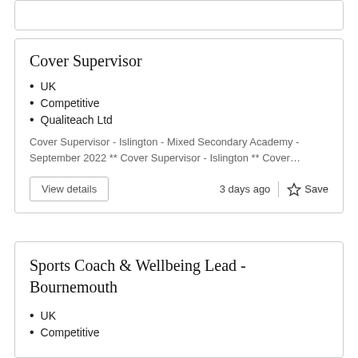Cover Supervisor
UK
Competitive
Qualiteach Ltd
Cover Supervisor - Islington - Mixed Secondary Academy - September 2022 ** Cover Supervisor - Islington ** Cover…
View details
3 days ago
Save
Sports Coach & Wellbeing Lead - Bournemouth
UK
Competitive